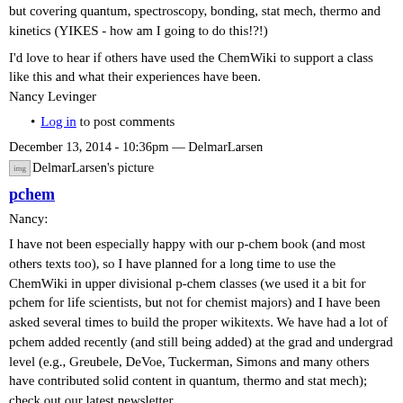but covering quantum, spectroscopy, bonding, stat mech, thermo and kinetics (YIKES - how am I going to do this!?!)
I'd love to hear if others have used the ChemWiki to support a class like this and what their experiences have been.
Nancy Levinger
Log in to post comments
December 13, 2014 - 10:36pm — DelmarLarsen
[Figure (photo): DelmarLarsen's picture]
pchem
Nancy:
I have not been especially happy with our p-chem book (and most others texts too), so I have planned for a long time to use the ChemWiki in upper divisional p-chem classes (we used it a bit for pchem for life scientists, but not for chemist majors) and I have been asked several times to build the proper wikitexts. We have had a lot of pchem added recently (and still being added) at the grad and undergrad level (e.g., Greubele, DeVoe, Tuckerman, Simons and many others have contributed solid content in quantum, thermo and stat mech); check out our latest newsletter